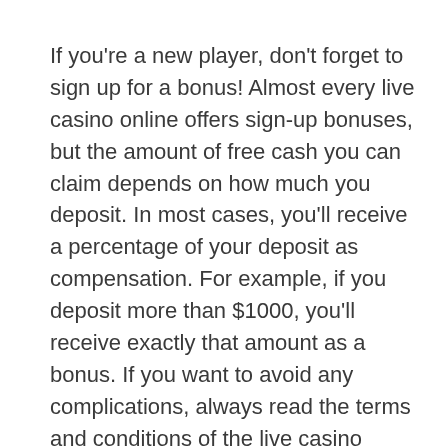If you're a new player, don't forget to sign up for a bonus! Almost every live casino online offers sign-up bonuses, but the amount of free cash you can claim depends on how much you deposit. In most cases, you'll receive a percentage of your deposit as compensation. For example, if you deposit more than $1000, you'll receive exactly that amount as a bonus. If you want to avoid any complications, always read the terms and conditions of the live casino online before you start playing.
Live casino games are great fun and are perfect for social gamblers. The only difference between live casino games and online games is that they involve real dealers. Live dealers are trained to interact with the users, hence the...